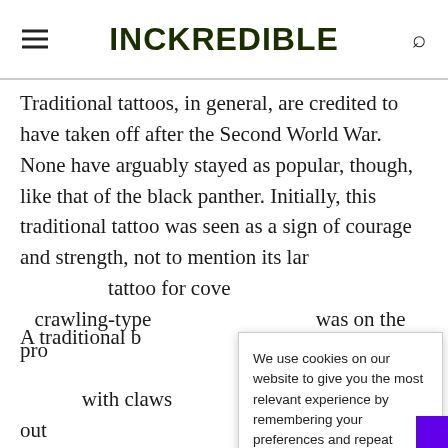INCKREDIBLE
Traditional tattoos, in general, are credited to have taken off after the Second World War. None have arguably stayed as popular, though, like that of the black panther. Initially, this traditional tattoo was seen as a sign of courage and strength, not to mention its lar... tattoo for cove... crawling-type ... was on the pro...
We use cookies on our website to give you the most relevant experience by remembering your preferences and repeat visits. By clicking "Accept All", you consent to the use of ALL the cookies. However, you may visit "Cookie Settings" to provide a controlled consent.
A traditional b... with claws out... skin. Other tim... head of the black panther or with the giant cat